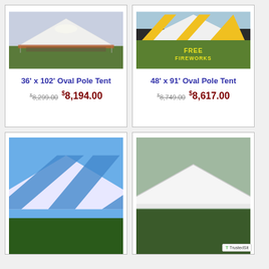[Figure (photo): White oval pole tent set up on grass at an outdoor event with people visible underneath]
36' x 102' Oval Pole Tent
$8,299.00  $8,194.00
[Figure (photo): Yellow and white striped oval pole tent at an outdoor event with FREE FIREWORKS text on the ground]
48' x 91' Oval Pole Tent
$8,749.00  $8,617.00
[Figure (photo): Blue and white striped tent top visible against blue sky (partially visible, bottom of page)]
[Figure (photo): White frame tent visible against sky with trees (partially visible, bottom of page), TrustedSite badge in corner]